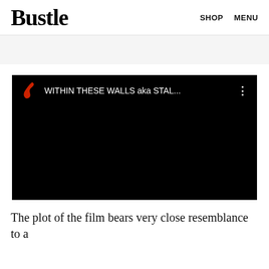Bustle   SHOP   MENU
[Figure (screenshot): YouTube-style embedded video player with black background showing title 'WITHIN THESE WALLS aka STAL...' with a red feather/quill channel icon and three-dot menu icon]
The plot of the film bears very close resemblance to a